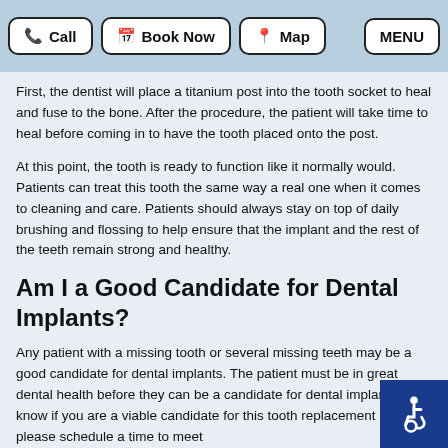Call | Book Now | Map | MENU
First, the dentist will place a titanium post into the tooth socket to heal and fuse to the bone. After the procedure, the patient will take time to heal before coming in to have the tooth placed onto the post.
At this point, the tooth is ready to function like it normally would. Patients can treat this tooth the same way a real one when it comes to cleaning and care. Patients should always stay on top of daily brushing and flossing to help ensure that the implant and the rest of the teeth remain strong and healthy.
Am I a Good Candidate for Dental Implants?
Any patient with a missing tooth or several missing teeth may be a good candidate for dental implants. The patient must be in great dental health before they can be a candidate for dental implants. To know if you are a viable candidate for this tooth replacement solution, please schedule a time to meet